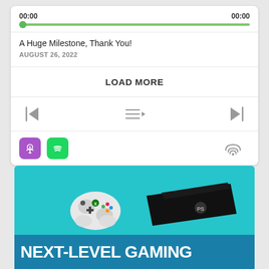00:00    00:00
A Huge Milestone, Thank You!
AUGUST 26, 2022
LOAD MORE
[Figure (infographic): Podcast player controls: skip back, queue/playlist, skip forward]
[Figure (infographic): Streaming platform icons: Apple Podcasts (purple), Spotify (green), and a podcast/broadcast icon (gray) on the right]
[Figure (infographic): Gaming advertisement banner showing Xbox controller and PS4 Pro console on teal background with text NEXT-LEVEL GAMING in white bold letters on darker teal strip]